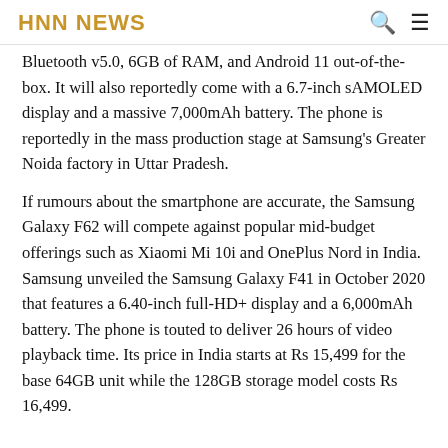HNN NEWS
Bluetooth v5.0, 6GB of RAM, and Android 11 out-of-the-box. It will also reportedly come with a 6.7-inch sAMOLED display and a massive 7,000mAh battery. The phone is reportedly in the mass production stage at Samsung's Greater Noida factory in Uttar Pradesh.
If rumours about the smartphone are accurate, the Samsung Galaxy F62 will compete against popular mid-budget offerings such as Xiaomi Mi 10i and OnePlus Nord in India. Samsung unveiled the Samsung Galaxy F41 in October 2020 that features a 6.40-inch full-HD+ display and a 6,000mAh battery. The phone is touted to deliver 26 hours of video playback time. Its price in India starts at Rs 15,499 for the base 64GB unit while the 128GB storage model costs Rs 16,499.